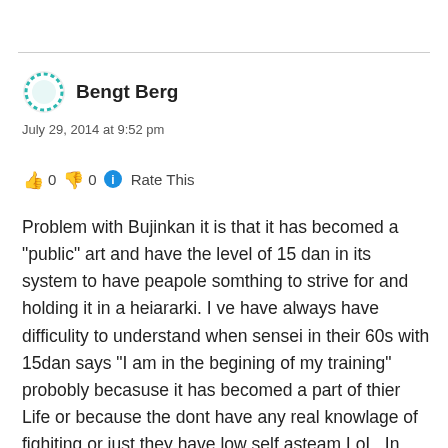Bengt Berg
July 29, 2014 at 9:52 pm
👍 0 👎 0 ℹ Rate This
Problem with Bujinkan it is that it has becomed a "public" art and have the level of 15 dan in its system to have peapole somthing to strive for and holding it in a heiararki. I ve have always have difficulity to understand when sensei in their 60s with 15dan says "I am in the begining of my training" probobly becasuse it has becomed a part of thier Life or because the dont have any real knowlage of fighiting or just they have low self asteam LoL. In MMA you can be world champion at the age of 25-30. But its